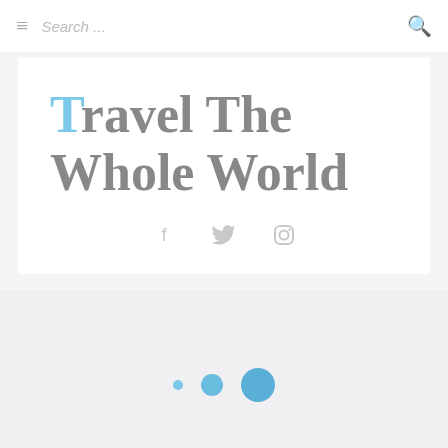☰  Search ...  🔍
Travel The Whole World
[Figure (infographic): Social media icons: Facebook (f), Twitter bird, Instagram camera, displayed in a row]
[Figure (infographic): Three blue dots of increasing size arranged horizontally, suggesting a loading or pagination indicator]